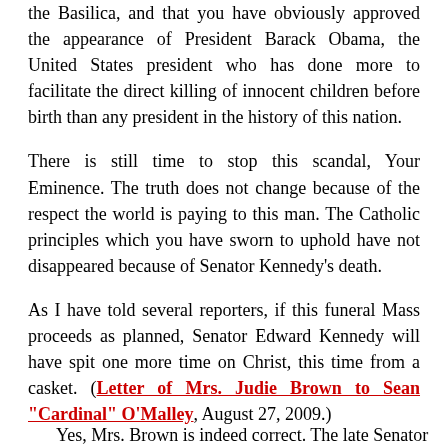the Basilica, and that you have obviously approved the appearance of President Barack Obama, the United States president who has done more to facilitate the direct killing of innocent children before birth than any president in the history of this nation.
There is still time to stop this scandal, Your Eminence. The truth does not change because of the respect the world is paying to this man. The Catholic principles which you have sworn to uphold have not disappeared because of Senator Kennedy's death.
As I have told several reporters, if this funeral Mass proceeds as planned, Senator Edward Kennedy will have spit one more time on Christ, this time from a casket. (Letter of Mrs. Judie Brown to Sean "Cardinal" O'Malley, August 27, 2009.)
Yes, Mrs. Brown is indeed correct. The late Senator